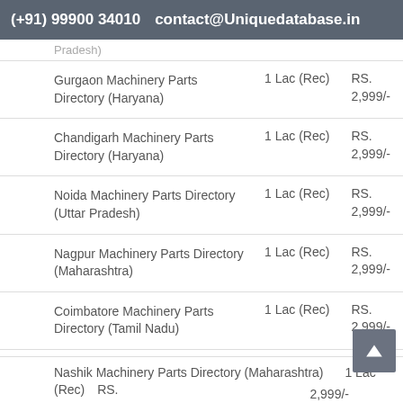(+91) 99900 34010   contact@Uniquedatabase.in
| Directory | Records | Price |
| --- | --- | --- |
| Gurgaon Machinery Parts Directory (Haryana) | 1 Lac (Rec) | RS. 2,999/- |
| Chandigarh Machinery Parts Directory (Haryana) | 1 Lac (Rec) | RS. 2,999/- |
| Noida Machinery Parts Directory (Uttar Pradesh) | 1 Lac (Rec) | RS. 2,999/- |
| Nagpur Machinery Parts Directory (Maharashtra) | 1 Lac (Rec) | RS. 2,999/- |
| Coimbatore Machinery Parts Directory (Tamil Nadu) | 1 Lac (Rec) | RS. 2,999/- |
| Ludhiana Machinery Parts Directory (Punjab) | 1 Lac (Rec) | RS. 2,999/- |
| Nashik Machinery Parts Directory (Maharashtra) | 1 Lac (Rec) | RS. 2,999/- |